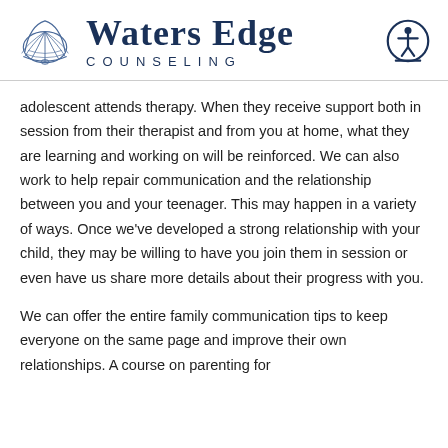[Figure (logo): Waters Edge Counseling logo with shell icon and accessibility icon]
adolescent attends therapy. When they receive support both in session from their therapist and from you at home, what they are learning and working on will be reinforced. We can also work to help repair communication and the relationship between you and your teenager. This may happen in a variety of ways. Once we've developed a strong relationship with your child, they may be willing to have you join them in session or even have us share more details about their progress with you.
We can offer the entire family communication tips to keep everyone on the same page and improve their own relationships. A course on parenting for